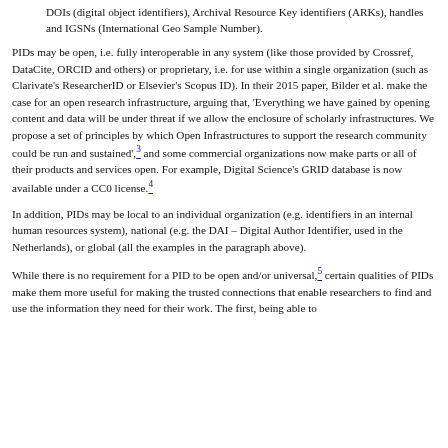DOIs (digital object identifiers), Archival Resource Key identifiers (ARKs), handles and IGSNs (International Geo Sample Number).
PIDs may be open, i.e. fully interoperable in any system (like those provided by Crossref, DataCite, ORCID and others) or proprietary, i.e. for use within a single organization (such as Clarivate's ResearcherID or Elsevier's Scopus ID). In their 2015 paper, Bilder et al. make the case for an open research infrastructure, arguing that, 'Everything we have gained by opening content and data will be under threat if we allow the enclosure of scholarly infrastructures. We propose a set of principles by which Open Infrastructures to support the research community could be run and sustained',3 and some commercial organizations now make parts or all of their products and services open. For example, Digital Science's GRID database is now available under a CC0 license.4
In addition, PIDs may be local to an individual organization (e.g. identifiers in an internal human resources system), national (e.g. the DAI – Digital Author Identifier, used in the Netherlands), or global (all the examples in the paragraph above).
While there is no requirement for a PID to be open and/or universal,5 certain qualities of PIDs make them more useful for making the trusted connections that enable researchers to find and use the information they need for their work. The first, being able to...